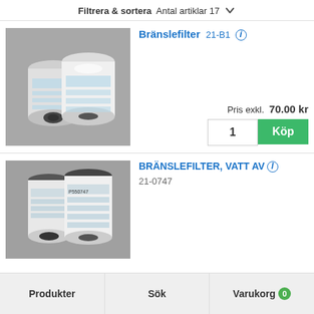Filtrera & sortera  Antal artiklar 17
Bränslefilter 21-B1
[Figure (photo): Two white cylindrical fuel filters (Donaldson brand) on a gray background]
Pris exkl. 70.00 kr
BRÄNSLEFILTER, VATT AV
21-0747
[Figure (photo): Two white cylindrical fuel filters (water separator type) on a gray background]
Produkter   Sök   Varukorg 0